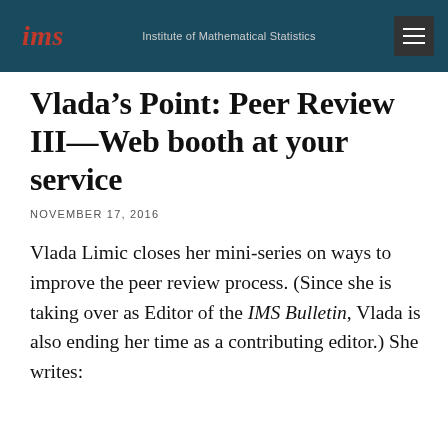ims | Institute of Mathematical Statistics
Vlada’s Point: Peer Review III—Web booth at your service
NOVEMBER 17, 2016
Vlada Limic closes her mini-series on ways to improve the peer review process. (Since she is taking over as Editor of the IMS Bulletin, Vlada is also ending her time as a contributing editor.) She writes: